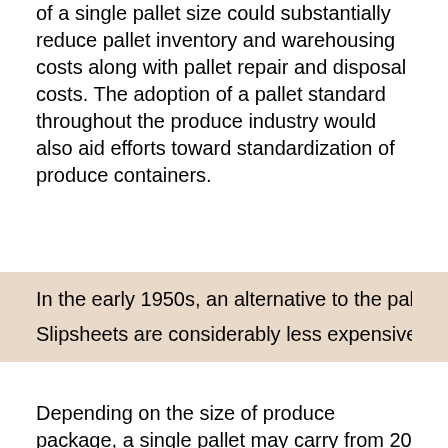of a single pallet size could substantially reduce pallet inventory and warehousing costs along with pallet repair and disposal costs. The adoption of a pallet standard throughout the produce industry would also aid efforts toward standardization of produce containers.
In the early 1950s, an alternative to the pallet was introduced. Slipsheets are considerably less expensive than pallets to
Depending on the size of produce package, a single pallet may carry from 20 to over 100 individual packages. Because these packages are often loosely stacked to allow for air circulation, or are bulging and difficult to stack evenly, they must be secured (unitized) to prevent shifting during handling and transit. Although widely used, plastic straps and tapes may not have completely satisfactory results. Plastic or paper corner tabs should always be used to prevent the straps from crushing the corners of packages.